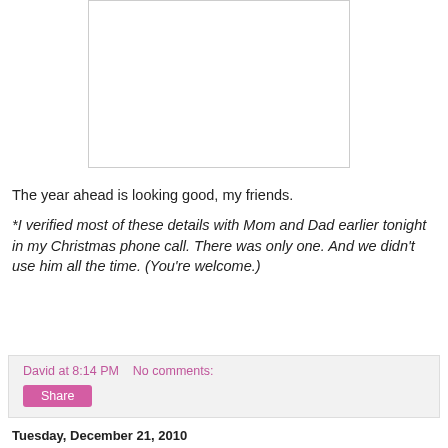[Figure (other): White empty image box with light gray border]
The year ahead is looking good, my friends.
*I verified most of these details with Mom and Dad earlier tonight in my Christmas phone call. There was only one. And we didn't use him all the time. (You're welcome.)
David at 8:14 PM   No comments:
Share
Tuesday, December 21, 2010